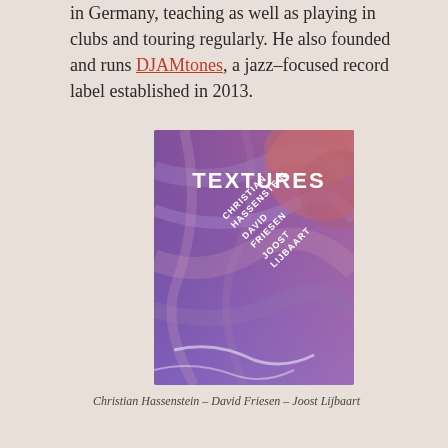in Germany, teaching as well as playing in clubs and touring regularly. He also founded and runs DJAMtones, a jazz-focused record label established in 2013.
[Figure (photo): Album cover for 'Textures' featuring Christian Hassenstein, David Friesen, Joost Lijbaart. Purple and red abstract textured background with white diagonal text listing the artists' names and the album title 'TEXTURES'.]
Christian Hassenstein – David Friesen – Joost Lijbaart